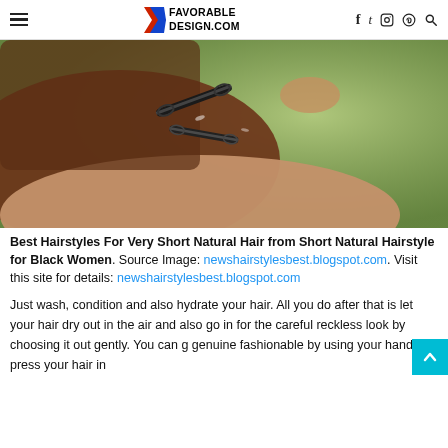FAVORABLE DESIGN.COM
[Figure (photo): Close-up photo of fingers holding small black hair clips/bobby pins against a blurred green outdoor background.]
Best Hairstyles For Very Short Natural Hair from Short Natural Hairstyle for Black Women. Source Image: newshairstylesbest.blogspot.com. Visit this site for details: newshairstylesbest.blogspot.com
Just wash, condition and also hydrate your hair. All you do after that is let your hair dry out in the air and also go in for the careful reckless look by choosing it out gently. You can go genuine fashionable by using your hands to press your hair in